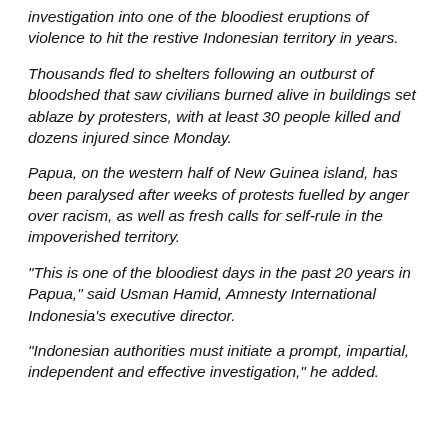investigation into one of the bloodiest eruptions of violence to hit the restive Indonesian territory in years.
Thousands fled to shelters following an outburst of bloodshed that saw civilians burned alive in buildings set ablaze by protesters, with at least 30 people killed and dozens injured since Monday.
Papua, on the western half of New Guinea island, has been paralysed after weeks of protests fuelled by anger over racism, as well as fresh calls for self-rule in the impoverished territory.
"This is one of the bloodiest days in the past 20 years in Papua," said Usman Hamid, Amnesty International Indonesia's executive director.
"Indonesian authorities must initiate a prompt, impartial, independent and effective investigation," he added.